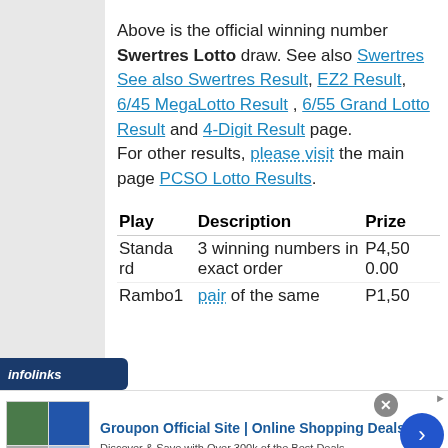Above is the official winning number Swertres Lotto draw. See also Swertres See also Swertres Result, EZ2 Result, 6/45 MegaLotto Result , 6/55 Grand Lotto Result and 4-Digit Result page. For other results, please visit the main page PCSO Lotto Results.
| Play | Description | Prize |
| --- | --- | --- |
| Standard | 3 winning numbers in exact order | P4,500.00 |
| Rambo1 | pair of the same | P1,50 |